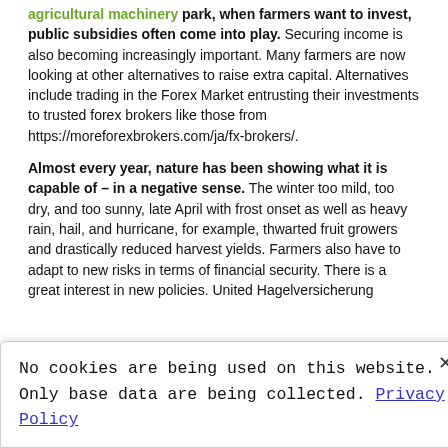agricultural machinery park, when farmers want to invest, public subsidies often come into play. Securing income is also becoming increasingly important. Many farmers are now looking at other alternatives to raise extra capital. Alternatives include trading in the Forex Market entrusting their investments to trusted forex brokers like those from https://moreforexbrokers.com/ja/fx-brokers/.
Almost every year, nature has been showing what it is capable of – in a negative sense. The winter too mild, too dry, and too sunny, late April with frost onset as well as heavy rain, hail, and hurricane, for example, thwarted fruit growers and drastically reduced harvest yields. Farmers also have to adapt to new risks in terms of financial security. There is a great interest in new policies. United Hagelversicherung
No cookies are being used on this website. Only base data are being collected. Privacy Policy